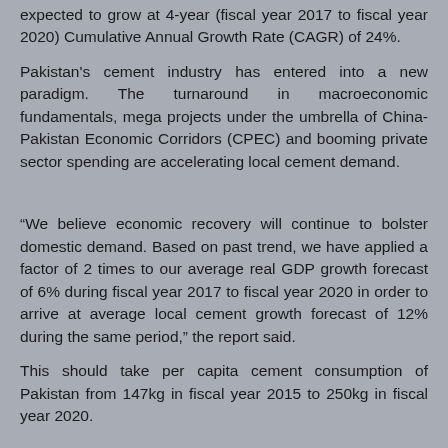expected to grow at 4-year (fiscal year 2017 to fiscal year 2020) Cumulative Annual Growth Rate (CAGR) of 24%.
Pakistan's cement industry has entered into a new paradigm. The turnaround in macroeconomic fundamentals, mega projects under the umbrella of China-Pakistan Economic Corridors (CPEC) and booming private sector spending are accelerating local cement demand.
“We believe economic recovery will continue to bolster domestic demand. Based on past trend, we have applied a factor of 2 times to our average real GDP growth forecast of 6% during fiscal year 2017 to fiscal year 2020 in order to arrive at average local cement growth forecast of 12% during the same period,” the report said.
This should take per capita cement consumption of Pakistan from 147kg in fiscal year 2015 to 250kg in fiscal year 2020.